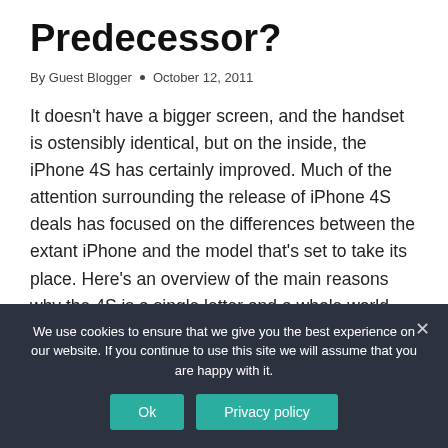Predecessor?
By Guest Blogger • October 12, 2011
It doesn't have a bigger screen, and the handset is ostensibly identical, but on the inside, the iPhone 4S has certainly improved. Much of the attention surrounding the release of iPhone 4S deals has focused on the differences between the extant iPhone and the model that's set to take its place. Here's an overview of the main reasons why the 4S is a single letter and a whole world ahead of
We use cookies to ensure that we give you the best experience on our website. If you continue to use this site we will assume that you are happy with it.